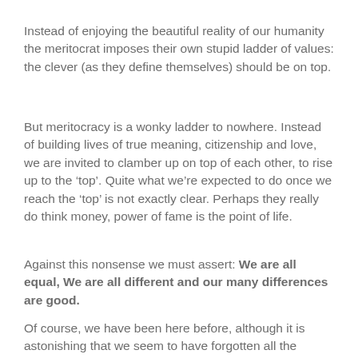Instead of enjoying the beautiful reality of our humanity the meritocrat imposes their own stupid ladder of values: the clever (as they define themselves) should be on top.
But meritocracy is a wonky ladder to nowhere. Instead of building lives of true meaning, citizenship and love, we are invited to clamber up on top of each other, to rise up to the ‘top’. Quite what we’re expected to do once we reach the ‘top’ is not exactly clear. Perhaps they really do think money, power of fame is the point of life.
Against this nonsense we must assert: We are all equal, We are all different and our many differences are good.
Of course, we have been here before, although it is astonishing that we seem to have forgotten all the